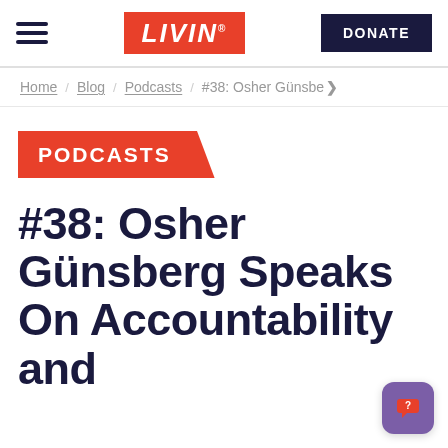LIVIN | DONATE
Home / Blog / Podcasts / #38: Osher Günsbe>
PODCASTS
#38: Osher Günsberg Speaks On Accountability and